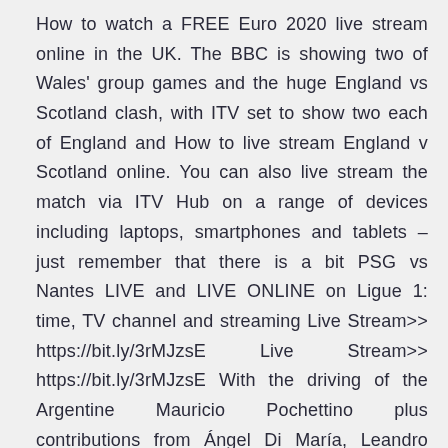How to watch a FREE Euro 2020 live stream online in the UK. The BBC is showing two of Wales' group games and the huge England vs Scotland clash, with ITV set to show two each of England and How to live stream England v Scotland online. You can also live stream the match via ITV Hub on a range of devices including laptops, smartphones and tablets – just remember that there is a bit PSG vs Nantes LIVE and LIVE ONLINE on Ligue 1: time, TV channel and streaming Live Stream>> https://bit.ly/3rMJzsE Live Stream>> https://bit.ly/3rMJzsE With the driving of the Argentine Mauricio Pochettino plus contributions from Ángel Di María, Leandro Paredes Y Mauro Icardi, in addition to the figures Neymar Y Kylian Mbappé, the truth is that the PSG will be receiving the Nantes in the Rugby Six Nations Round 1 . February 06, 2021 (Twickenham